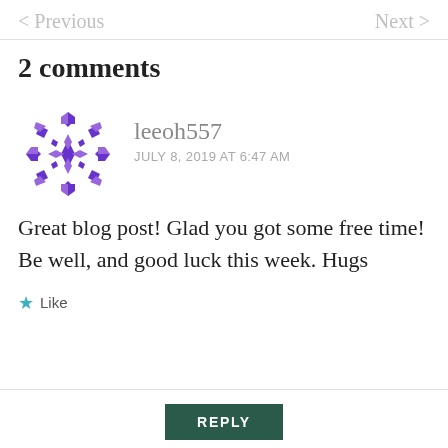< Previous    Next >
2 comments
[Figure (illustration): Purple geometric snowflake/mandala avatar for user leeoh557]
leeoh557
JULY 8, 2019 AT 6:47 AM
Great blog post! Glad you got some free time! Be well, and good luck this week. Hugs
★ Like
REPLY